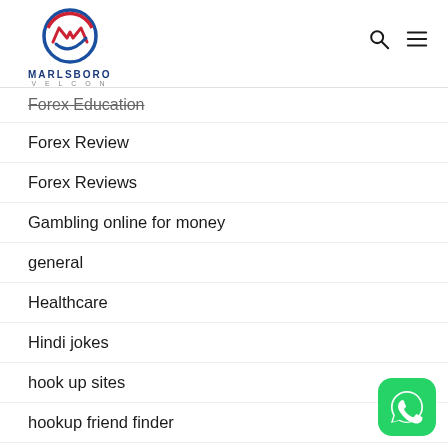MARLSBORO VELCON
Forex Education
Forex Review
Forex Reviews
Gambling online for money
general
Healthcare
Hindi jokes
hook up sites
hookup friend finder
[Figure (logo): WhatsApp button icon, green rounded square with white phone/chat icon]